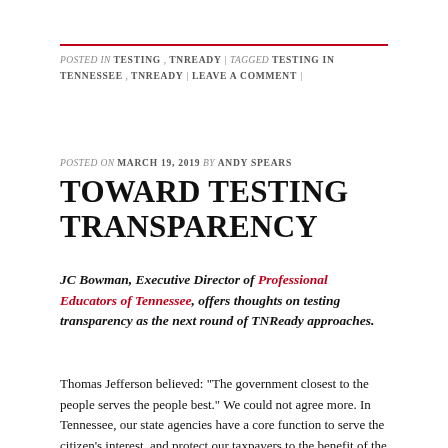POSTED IN TESTING , TNREADY | TAGGED TESTING IN TENNESSEE , TNREADY | LEAVE A COMMENT |
POSTED ON MARCH 19, 2019 BY ANDY SPEARS
TOWARD TESTING TRANSPARENCY
JC Bowman, Executive Director of Professional Educators of Tennessee, offers thoughts on testing transparency as the next round of TNReady approaches.
Thomas Jefferson believed: “The government closest to the people serves the people best.” We could not agree more. In Tennessee, our state agencies have a core function to serve the citizen’s interest, and protect our taxpayers to the benefit of the state. To ensure our school